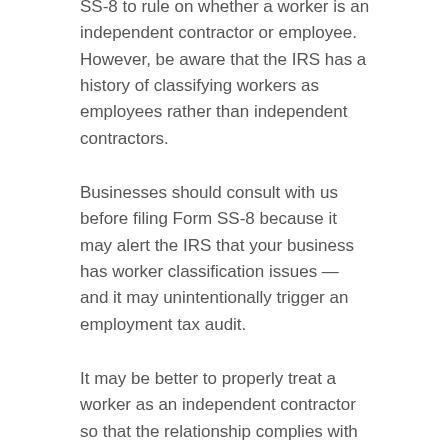SS-8 to rule on whether a worker is an independent contractor or employee. However, be aware that the IRS has a history of classifying workers as employees rather than independent contractors.
Businesses should consult with us before filing Form SS-8 because it may alert the IRS that your business has worker classification issues — and it may unintentionally trigger an employment tax audit.
It may be better to properly treat a worker as an independent contractor so that the relationship complies with the tax rules.
Workers who want an official determination of their status can also file Form SS-8.